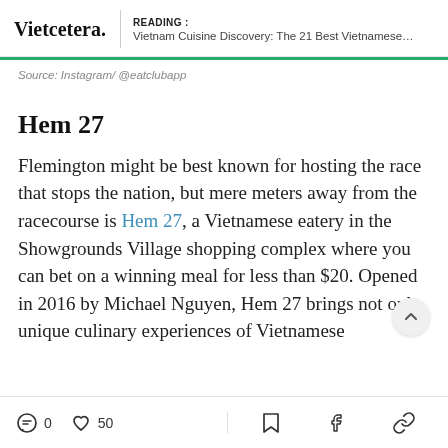Vietcetera. | READING : Vietnam Cuisine Discovery: The 21 Best Vietnamese...
Source: Instagram/ @eatclubapp
Hem 27
Flemington might be best known for hosting the race that stops the nation, but mere meters away from the racecourse is Hem 27, a Vietnamese eatery in the Showgrounds Village shopping complex where you can bet on a winning meal for less than $20. Opened in 2016 by Michael Nguyen, Hem 27 brings not only unique culinary experiences of Vietnamese
0  50  [bookmark]  [facebook]  [link]